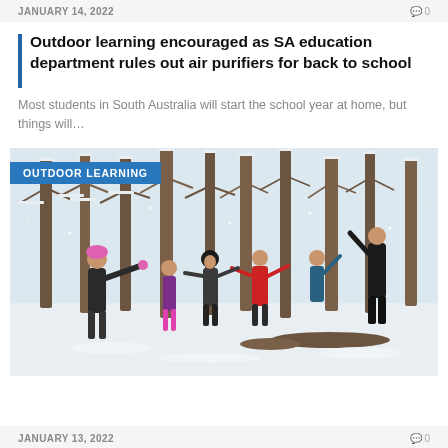JANUARY 14, 2022   0
Outdoor learning encouraged as SA education department rules out air purifiers for back to school
Most students in South Australia will start the school year at home, but things will…
[Figure (photo): Children and a teacher doing outdoor activities in a snowy forest, with an 'OUTDOOR LEARNING' label overlay]
JANUARY 13, 2022   0